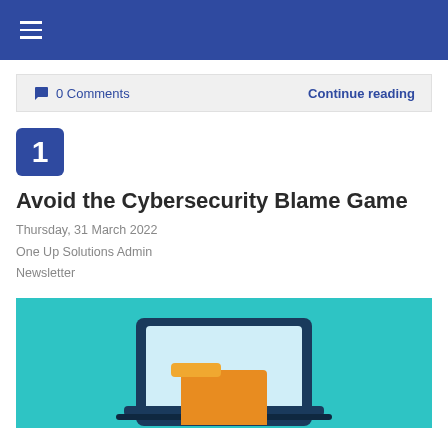≡
🗨 0 Comments    Continue reading
[Figure (illustration): Blue square badge with white number 1]
Avoid the Cybersecurity Blame Game
Thursday, 31 March 2022
One Up Solutions Admin
Newsletter
[Figure (illustration): Teal/cyan background illustration showing a laptop computer with a folder icon, representing cybersecurity theme]